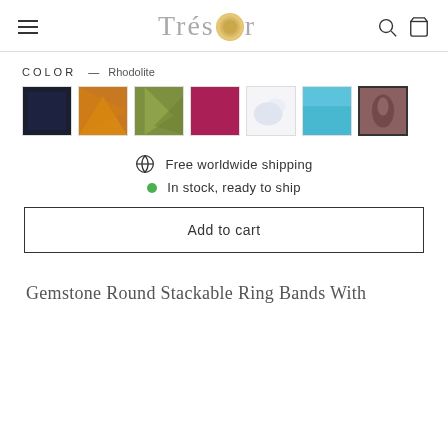Trésor
COLOR — Rhodolite
[Figure (other): Seven gemstone color swatches in a row: dark navy/black, orange/amber, green peridot, deep pink/ruby, white/moonstone, cyan/blue topaz, and rhodolite (mauve/pink) which is selected with a dark border.]
Free worldwide shipping
In stock, ready to ship
Add to cart
Gemstone Round Stackable Ring Bands With